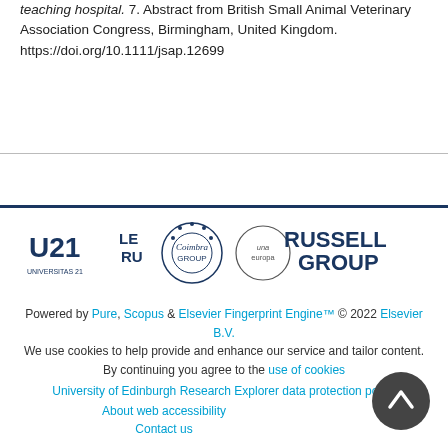teaching hospital. 7. Abstract from British Small Animal Veterinary Association Congress, Birmingham, United Kingdom. https://doi.org/10.1111/jsap.12699
[Figure (logo): University affiliation logos: Universitas 21 (U21), League of European Research Universities (LERU), Coimbra Group, Una Europa, Russell Group]
Powered by Pure, Scopus & Elsevier Fingerprint Engine™ © 2022 Elsevier B.V. We use cookies to help provide and enhance our service and tailor content. By continuing you agree to the use of cookies. University of Edinburgh Research Explorer data protection policy. About web accessibility. Contact us.